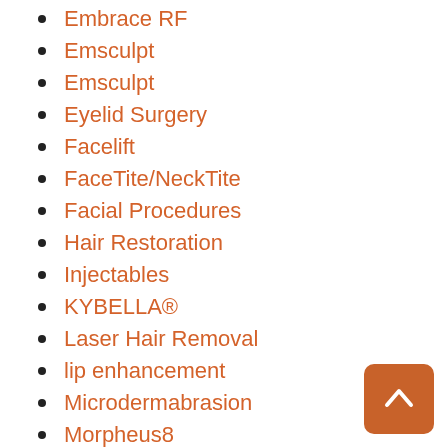Embrace RF
Emsculpt
Emsculpt
Eyelid Surgery
Facelift
FaceTite/NeckTite
Facial Procedures
Hair Restoration
Injectables
KYBELLA®
Laser Hair Removal
lip enhancement
Microdermabrasion
Morpheus8
revision rhinoplasty